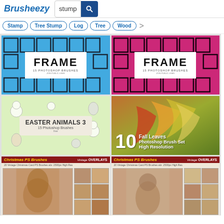Brusheezy — search: stump
Stamp
Tree Stump
Log
Tree
Wood
[Figure (illustration): Frame – 15 Photoshop Brushes thumbnail on blue background with decorative square frames]
[Figure (illustration): Frame – 15 Photoshop Brushes thumbnail on pink/magenta background with decorative square frames]
[Figure (illustration): Easter Animals 3 – 15 Photoshop Brushes thumbnail with bunny and egg illustrations on cream background]
[Figure (illustration): 10 Fall Leaves Photoshop Brush Set High Resolution thumbnail with autumn leaves on orange-green background]
[Figure (illustration): Christmas PS Brushes – Vintage Overlays thumbnail (left) with vintage Christmas card images]
[Figure (illustration): Christmas PS Brushes – Vintage Overlays thumbnail (right) with vintage Christmas card images]